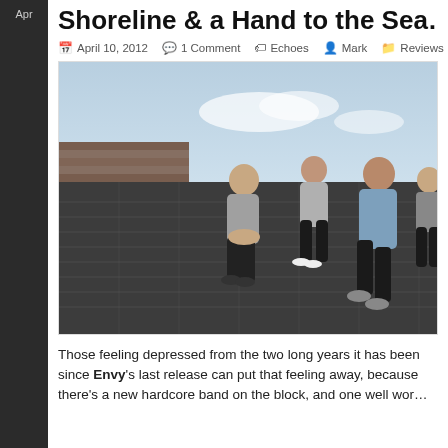Apr
Shoreline & a Hand to the Sea…
April 10, 2012  1 Comment  Echoes  Mark  Reviews
[Figure (photo): Five young men sitting on a rooftop with slate tiles, photographed outdoors with a light sky background. They are dressed casually and seated in a row looking towards the camera.]
Those feeling depressed from the two long years it has been since Envy's last release can put that feeling away, because there's a new hardcore band on the block, and one well wor…